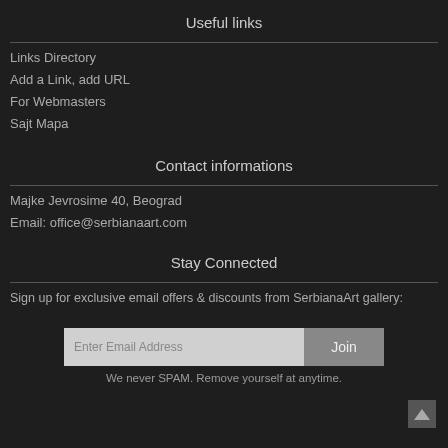Useful links
Links Directory
Add a Link, add URL
For Webmasters
Sajt Mapa
Contact informations
Majke Jevrosime 40, Beograd
Email: office@serbianaart.com
Stay Connected
Sign up for exclusive email offers & discounts from SerbianaArt gallery:
Enter Email Address  Join
We never SPAM. Remove yourself at anytime.